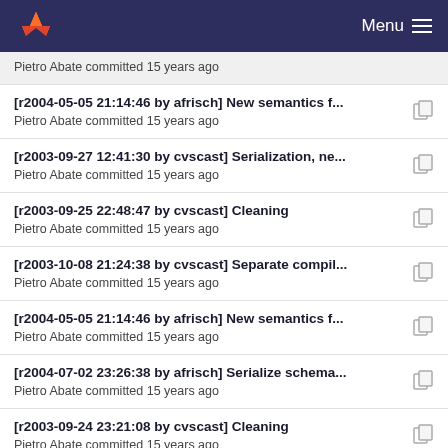Menu
Pietro Abate committed 15 years ago
[r2004-05-05 21:14:46 by afrisch] New semantics f...
Pietro Abate committed 15 years ago
[r2003-09-27 12:41:30 by cvscast] Serialization, ne...
Pietro Abate committed 15 years ago
[r2003-09-25 22:48:47 by cvscast] Cleaning
Pietro Abate committed 15 years ago
[r2003-10-08 21:24:38 by cvscast] Separate compil...
Pietro Abate committed 15 years ago
[r2004-05-05 21:14:46 by afrisch] New semantics f...
Pietro Abate committed 15 years ago
[r2004-07-02 23:26:38 by afrisch] Serialize schema...
Pietro Abate committed 15 years ago
[r2003-09-24 23:21:08 by cvscast] Cleaning
Pietro Abate committed 15 years ago